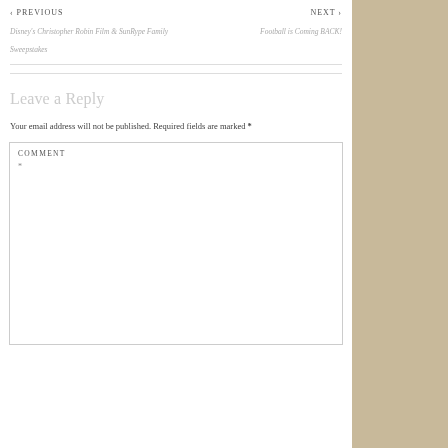< PREVIOUS
Disney's Christopher Robin Film & SunRype Family Sweepstakes
NEXT >
Football is Coming BACK!
Leave a Reply
Your email address will not be published. Required fields are marked *
COMMENT
*